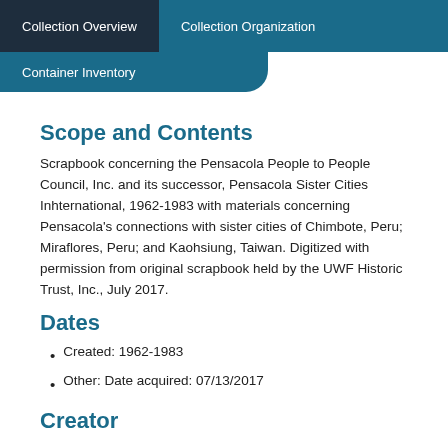Collection Overview | Collection Organization
Container Inventory
Scope and Contents
Scrapbook concerning the Pensacola People to People Council, Inc. and its successor, Pensacola Sister Cities Inhternational, 1962-1983 with materials concerning Pensacola's connections with sister cities of Chimbote, Peru; Miraflores, Peru; and Kaohsiung, Taiwan. Digitized with permission from original scrapbook held by the UWF Historic Trust, Inc., July 2017.
Dates
Created: 1962-1983
Other: Date acquired: 07/13/2017
Creator